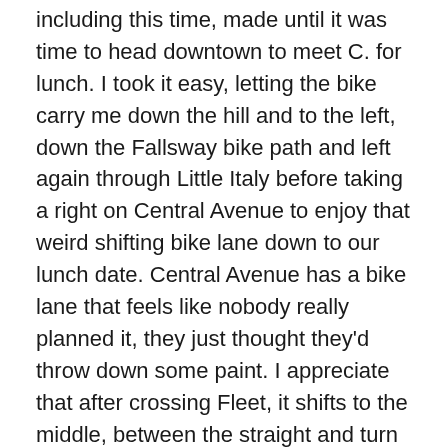including this time, made until it was time to head downtown to meet C. for lunch. I took it easy, letting the bike carry me down the hill and to the left, down the Fallsway bike path and left again through Little Italy before taking a right on Central Avenue to enjoy that weird shifting bike lane down to our lunch date. Central Avenue has a bike lane that feels like nobody really planned it, they just thought they'd throw down some paint. I appreciate that after crossing Fleet, it shifts to the middle, between the straight and turn lane, but cars still don't seem to expect me to follow that lane. And then it runs next to back-in parking and ends up taken over by the front of all those cars. Like I said, it's a great idea to have a lane here, but yeah. I locked up my bike to a parking meter, because bike racks are still a rare thing around these parts, though there are plenty of bikes riding all over downtown. C. and I had a lovely lunch, spent mostly with him answering my zillion questions